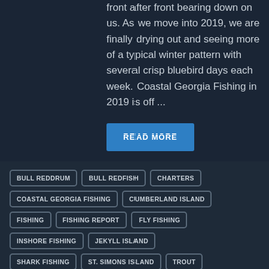front after front bearing down on us.  As we move into 2019, we are finally drying out and seeing more of a typical winter pattern with several crisp bluebird days each week. Coastal Georgia Fishing in 2019 is off ...
READ MORE
BULL REDDRUM
BULL REDFISH
CHARTERS
COASTAL GEORGIA FISHING
CUMBERLAND ISLAND
FISHING
FISHING REPORT
FLY FISHING
INSHORE FISHING
JEKYLL ISLAND
SHARK FISHING
ST. SIMONS ISLAND
TROUT